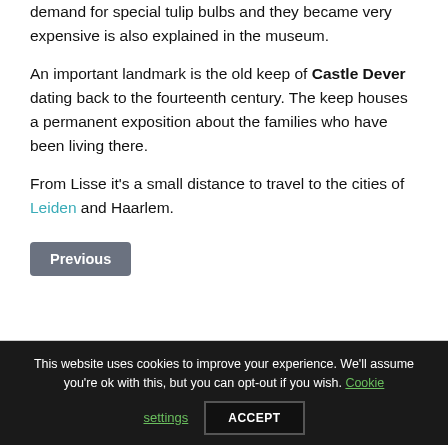demand for special tulip bulbs and they became very expensive is also explained in the museum.
An important landmark is the old keep of Castle Dever dating back to the fourteenth century. The keep houses a permanent exposition about the families who have been living there.
From Lisse it’s a small distance to travel to the cities of Leiden and Haarlem.
Previous
This website uses cookies to improve your experience. We'll assume you're ok with this, but you can opt-out if you wish. Cookie settings ACCEPT